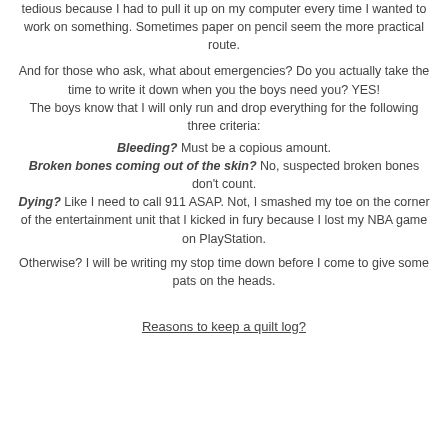tedious because I had to pull it up on my computer every time I wanted to work on something.  Sometimes paper on pencil seem the more practical route.
And for those who ask, what about emergencies?  Do you actually take the time to write it down when you the boys need you? YES!
The boys know that I will only run and drop everything for the following three criteria:
Bleeding?  Must be a copious amount.
Broken bones coming out of the skin? No, suspected broken bones don't count.
Dying?  Like I need to call 911 ASAP.  Not, I smashed my toe on the corner of the entertainment unit that I kicked in fury because I lost my NBA game on PlayStation.
Otherwise?  I will be writing my stop time down before I come to give some pats on the heads.
Reasons to keep a quilt log?